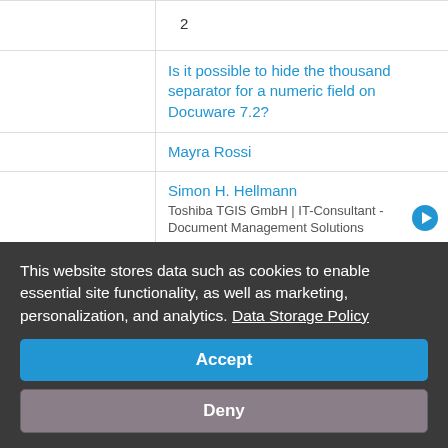2
Is it possible to hide the thousand separator for a numeric field on Docuware 7.2?
Mayra Rossi
Simon H. Hellmann
Toshiba TGIS GmbH | IT-Consultant - Document Management Solutions
2 years ago
1
How to retrive automatic amount in WF for a
This website stores data such as cookies to enable essential site functionality, as well as marketing, personalization, and analytics. Data Storage Policy
Accept
Deny